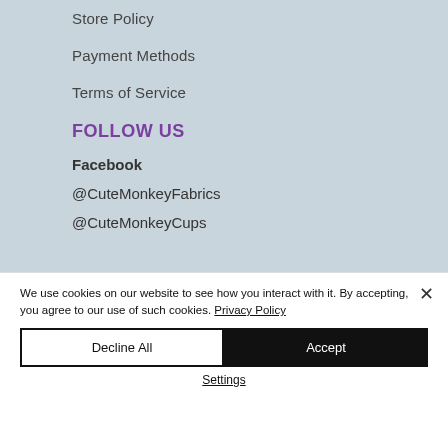Store Policy
Payment Methods
Terms of Service
FOLLOW US
Facebook
@CuteMonkeyFabrics
@CuteMonkeyCups
We use cookies on our website to see how you interact with it. By accepting, you agree to our use of such cookies. Privacy Policy
Decline All
Accept
Settings